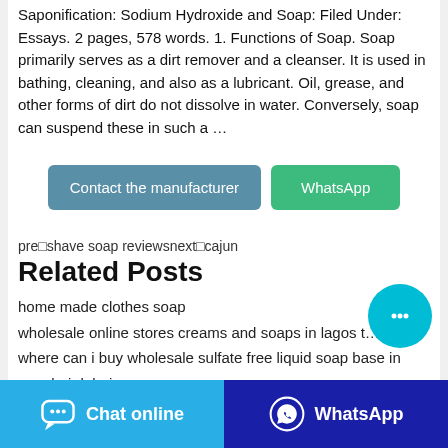Saponification: Sodium Hydroxide and Soap: Filed Under: Essays. 2 pages, 578 words. 1. Functions of Soap. Soap primarily serves as a dirt remover and a cleanser. It is used in bathing, cleaning, and also as a lubricant. Oil, grease, and other forms of dirt do not dissolve in water. Conversely, soap can suspend these in such a …
[Figure (other): Two buttons: 'Contact the manufacturer' (blue-grey) and 'WhatsApp' (green)]
pre|shave soap reviewsnext|cajun
Related Posts
home made clothes soap
wholesale online stores creams and soaps in lagos t…
where can i buy wholesale sulfate free liquid soap base in mumbai dubai
[Figure (other): Floating cyan chat bubble button with ellipsis icon]
[Figure (other): Bottom bar with 'Chat online' (blue) and 'WhatsApp' (dark blue) buttons]